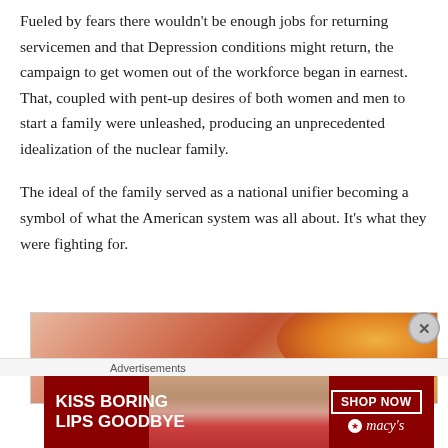Fueled by fears there wouldn't be enough jobs for returning servicemen and that Depression conditions might return, the campaign to get women out of the workforce began in earnest. That, coupled with pent-up desires of both women and men to start a family were unleashed, producing an unprecedented idealization of the nuclear family.
The ideal of the family served as a national unifier becoming a symbol of what the American system was all about. It's what they were fighting for.
[Figure (photo): Partial view of a person with reddish-orange hair, warm-toned background]
Advertisements
[Figure (photo): Macy's advertisement: KISS BORING LIPS GOODBYE with a woman's face and red lips, SHOP NOW button and Macy's star logo]